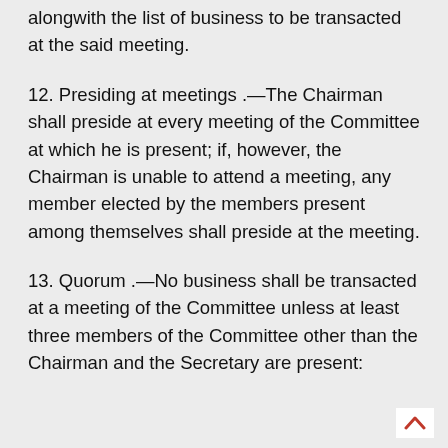alongwith the list of business to be transacted at the said meeting.
12. Presiding at meetings .—The Chairman shall preside at every meeting of the Committee at which he is present; if, however, the Chairman is unable to attend a meeting, any member elected by the members present among themselves shall preside at the meeting.
13. Quorum .—No business shall be transacted at a meeting of the Committee unless at least three members of the Committee other than the Chairman and the Secretary are present: